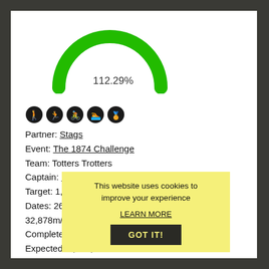[Figure (other): Green semicircular gauge showing 112.29% completion]
Partner: Stags
Event: The 1874 Challenge
Team: Totters Trotters
Captain: LAURENANTHONY
Target: 1,874,000m
Dates: 26 Mar 21 - 21 May 21 = 57 days = 32,878m/day
Completed: 2,104,357.6m (112.29%)
Expected: 1,874,000m
Position: 7th
Status: COMPLETE (04 May 21 23:59:59)
Members: 6/8 Activities: 530
[Figure (screenshot): Cookie consent overlay: 'This website uses cookies to improve your experience' with LEARN MORE link and GOT IT! button]